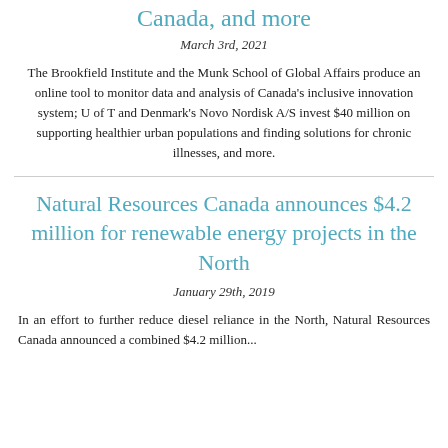Canada, and more
March 3rd, 2021
The Brookfield Institute and the Munk School of Global Affairs produce an online tool to monitor data and analysis of Canada's inclusive innovation system; U of T and Denmark's Novo Nordisk A/S invest $40 million on supporting healthier urban populations and finding solutions for chronic illnesses, and more.
Natural Resources Canada announces $4.2 million for renewable energy projects in the North
January 29th, 2019
In an effort to further reduce diesel reliance in the North, Natural Resources Canada announced a combined $4.2 million...